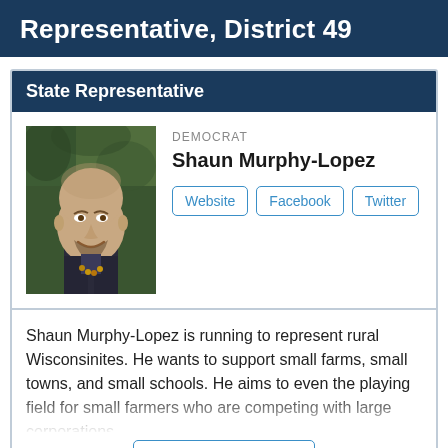Representative, District 49
State Representative
[Figure (photo): Headshot of Shaun Murphy-Lopez, a bald white man with a beard, smiling, wearing a dark jacket, with green foliage in the background.]
DEMOCRAT
Shaun Murphy-Lopez
Website | Facebook | Twitter
Shaun Murphy-Lopez is running to represent rural Wisconsinites. He wants to support small farms, small towns, and small schools. He aims to even the playing field for small farmers who are competing with large corporations.
Read More